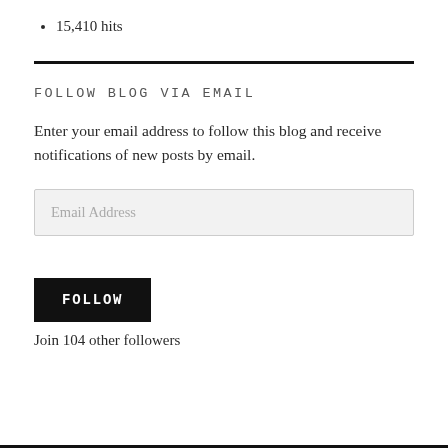15,410 hits
FOLLOW BLOG VIA EMAIL
Enter your email address to follow this blog and receive notifications of new posts by email.
Email Address
FOLLOW
Join 104 other followers